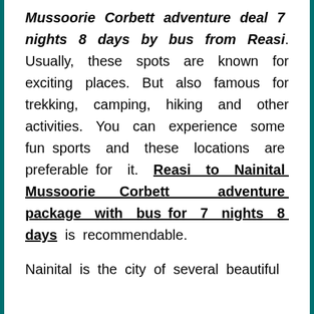Mussoorie Corbett adventure deal 7 nights 8 days by bus from Reasi. Usually, these spots are known for exciting places. But also famous for trekking, camping, hiking and other activities. You can experience some fun sports and these locations are preferable for it. Reasi to Nainital Mussoorie Corbett adventure package with bus for 7 nights 8 days is recommendable.
Nainital is the city of several beautiful